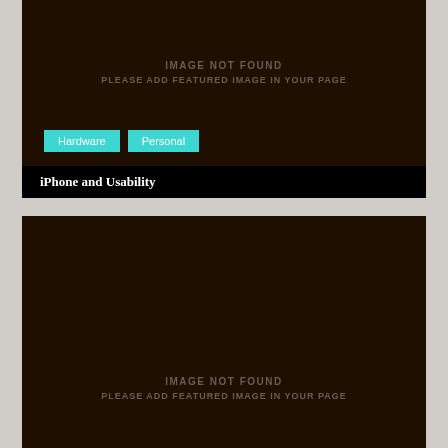[Figure (other): Dark brown placeholder image area with 'IMAGE NOT FOUND / PLEASE ADD FEATURED IMAGE IN YOUR PAGE' text in muted brown uppercase letters]
Hardware
Personal
iPhone and Usability
[Figure (other): Dark brown placeholder image area with 'IMAGE NOT FOUND / PLEASE ADD FEATURED IMAGE IN YOUR PAGE' text in muted brown uppercase letters]